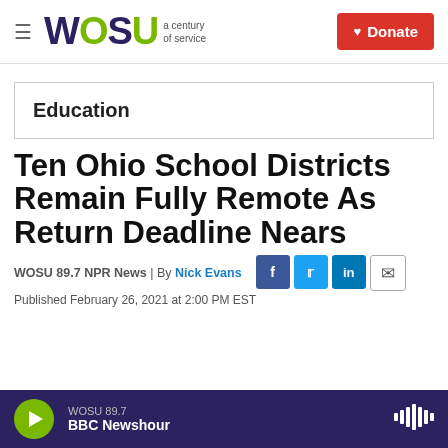WOSU a century of service | Donate
Education
Ten Ohio School Districts Remain Fully Remote As Return Deadline Nears
WOSU 89.7 NPR News | By Nick Evans
Published February 26, 2021 at 2:00 PM EST
WOSU 89.7 BBC Newshour